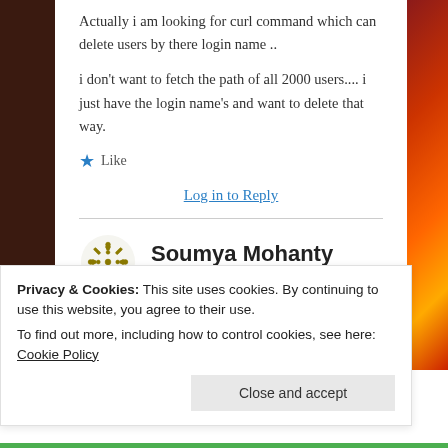Actually i am looking for curl command which can delete users by there login name ..
i don't want to fetch the path of all 2000 users.... i just have the login name's and want to delete that way.
★ Like
Log in to Reply
Soumya Mohanty
September 11, 2018 at 3:18 pm
Privacy & Cookies: This site uses cookies. By continuing to use this website, you agree to their use. To find out more, including how to control cookies, see here: Cookie Policy
Close and accept